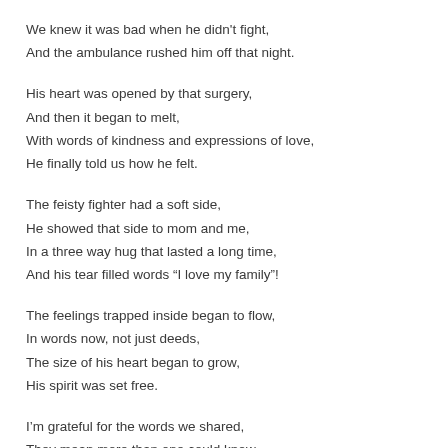We knew it was bad when he didn't fight,
And the ambulance rushed him off that night.
His heart was opened by that surgery,
And then it began to melt,
With words of kindness and expressions of love,
He finally told us how he felt.
The feisty fighter had a soft side,
He showed that side to mom and me,
In a three way hug that lasted a long time,
And his tear filled words “I love my family”!
The feelings trapped inside began to flow,
In words now, not just deeds,
The size of his heart began to grow,
His spirit was set free.
I’m grateful for the words we shared,
They mean more than one could know,
I always knew how much he cared,
But I’m glad he found the words to show.